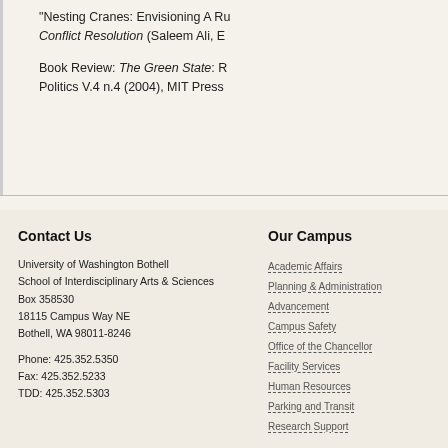“Nesting Cranes: Envisioning A Ru… Conflict Resolution (Saleem Ali, E…
Book Review: The Green State: R… Politics V.4 n.4 (2004), MIT Press
Contact Us
University of Washington Bothell
School of Interdisciplinary Arts & Sciences
Box 358530
18115 Campus Way NE
Bothell, WA 98011-8246

Phone: 425.352.5350
Fax: 425.352.5233
TDD: 425.352.5303
Our Campus
Academic Affairs
Planning & Administration
Advancement
Campus Safety
Office of the Chancellor
Facility Services
Human Resources
Parking and Transit
Research Support